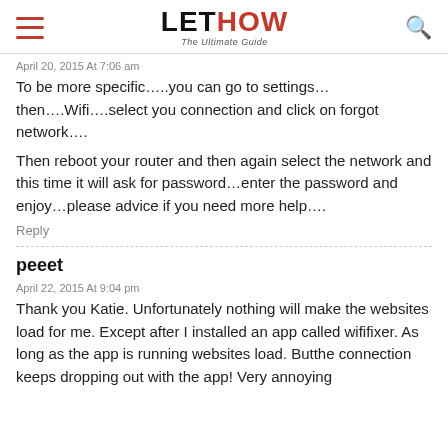LETHOW The Ultimate Guide
April 20, 2015 At 7:06 am
To be more specific…..you can go to settings…then….Wifi….select you connection and click on forgot network….
Then reboot your router and then again select the network and this time it will ask for password…enter the password and enjoy…please advice if you need more help….
Reply
peeet
April 22, 2015 At 9:04 pm
Thank you Katie. Unfortunately nothing will make the websites load for me. Except after I installed an app called wififixer. As long as the app is running websites load. Butthe connection keeps dropping out with the app! Very annoying